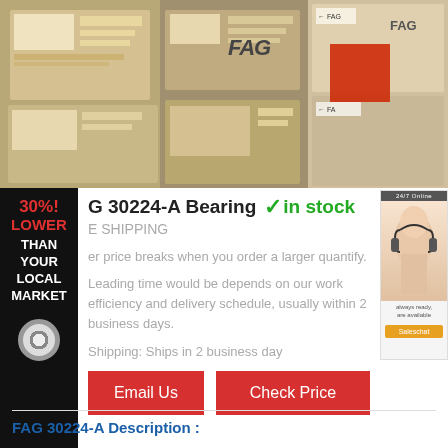[Figure (photo): Product photos showing FAG bearing boxes stacked, with labels and barcodes visible. Left panel shows close-up of boxes with shipping labels. Right panel shows stacked wooden crates with a red label.]
[Figure (infographic): Black sidebar banner with text '30%! LOWER THAN YOUR LOCAL MARKET' in red and white, and a bearing icon at the bottom.]
[Figure (photo): Advertisement box showing a customer service representative with headset.]
G 30224-A Bearing
✓in stock
E SHIPPING
er price breaks when you order a larger quantify.
Leading time would be depends on our work efficiency and delivery schedule, usually within 2 business days.
Shipping: Ships in 2 business day
Email Us
Check Price
FAG 30224-A Description :